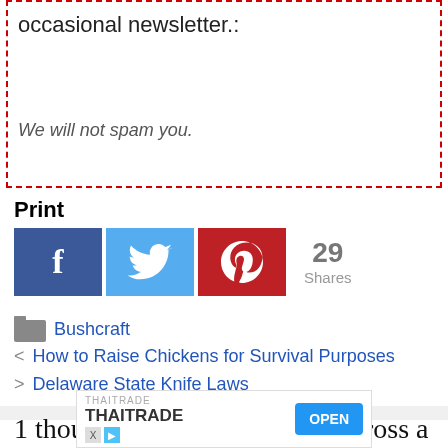occasional newsletter.:
We will not spam you.
Print
[Figure (other): Social sharing buttons: Facebook (blue), Twitter (light blue), Pinterest (red), and a share count showing 29 Shares]
Bushcraft
< How to Raise Chickens for Survival Purposes
> Delaware State Knife Laws
1 thought on “Here’s How to Cross a River Safely”
[Figure (other): Advertisement banner: THAITRADE logo and text with blue OPEN button]